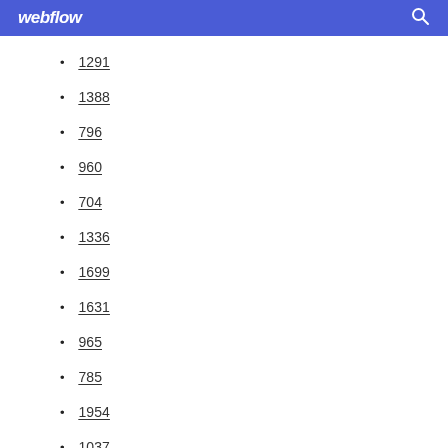webflow
1291
1388
796
960
704
1336
1699
1631
965
785
1954
1037